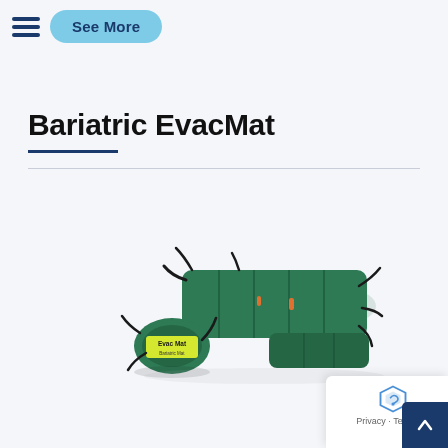[Figure (other): Hamburger menu icon with three horizontal dark blue bars, and a light blue pill-shaped 'See More' button next to it]
Bariatric EvacMat
[Figure (photo): A green Bariatric EvacMat product shown unrolled and rolled, with black straps and a yellow label reading 'Evac Mat' on the rolled portion]
Privacy · Terms